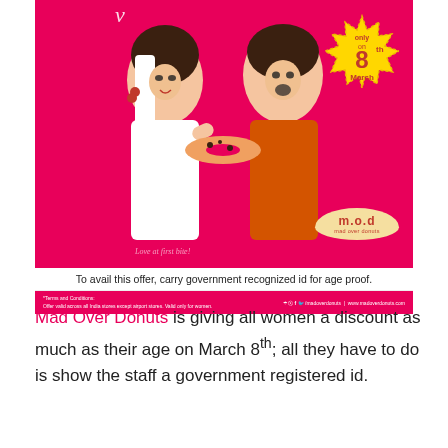[Figure (photo): Mad Over Donuts advertisement showing two young women eating a donut on a pink/magenta background. A yellow badge reads 'only on 8th March'. The m.o.d (mad over donuts) logo appears in bottom right. Bottom of image has caption 'To avail this offer, carry government recognized id for age proof.' and a red footer bar with terms and social media links.]
Mad Over Donuts is giving all women a discount as much as their age on March 8th; all they have to do is show the staff a government registered id.